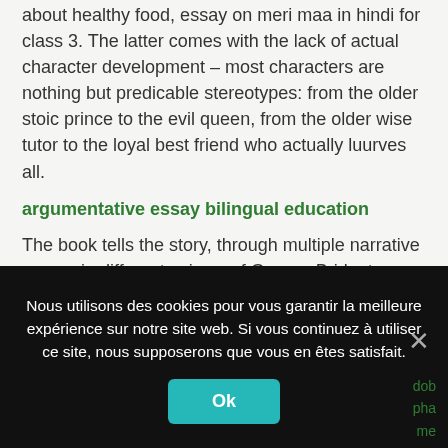about healthy food, essay on meri maa in hindi for class 3. The latter comes with the lack of actual character development – most characters are nothing but predicable stereotypes: from the older stoic prince to the evil queen, from the older wise tutor to the loyal best friend who actually luurves all.
argumentative essay bilingual education
The book tells the story, through multiple narrative poems in different voices, of George Bridgetower, an Afro-Polish child prodigy violinist who studied with Haydn. Let the Principal character be well acted, and the attraction never Fails. Founder Kristi Hines is a freelance writer, ghostwriter, and professional blogger. Lawrence's portrayal of franklin's life by many writings.
Nous utilisons des cookies pour vous garantir la meilleure expérience sur notre site web. Si vous continuez à utiliser ce site, nous supposerons que vous en êtes satisfait.
Ok